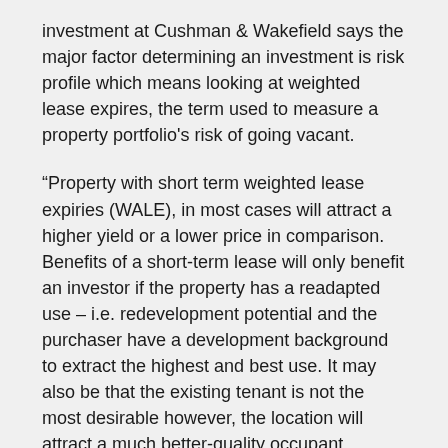investment at Cushman & Wakefield says the major factor determining an investment is risk profile which means looking at weighted lease expires, the term used to measure a property portfolio's risk of going vacant.
“Property with short term weighted lease expiries (WALE), in most cases will attract a higher yield or a lower price in comparison. Benefits of a short-term lease will only benefit an investor if the property has a readapted use – i.e. redevelopment potential and the purchaser have a development background to extract the highest and best use. It may also be that the existing tenant is not the most desirable however, the location will attract a much better-quality occupant increasing rental income, lowering the risk profile and increasing the building value.”
Among other factors to determine, here are some that need to be asked: